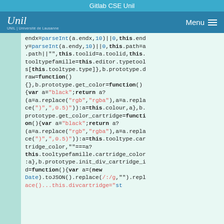Gitlab CSE Unil
[Figure (screenshot): University of Lausanne (UNIL) logo with Menu button]
endx=parseInt(a.endx,10)||0,this.endy=parseInt(a.endy,10)||0,this.path=a.path||"",this.toolid=a.toolid,this.tooltypefamille=this.editor.typetools[this.tooltype.type]},b.prototype.draw=function(){},b.prototype.get_color=function(){var a="black";return a?(a=a.replace("rgb","rgba"),a=a.replace(")",",0.5)")):a=this.colour,a},b.prototype.get_color_cartridge=function(){var a="black";return a?(a=a.replace("rgb","rgba"),a=a.replace(")",",0.5)")):a=this.tooltype.cartridge_color,""===a?this.tooltypefamille.cartridge_color:a},b.prototype.init_div_cartridge_id=function(){var a=(new Date).toJSON().replace(/:/g,"").repl ace()...this.divcartridge="st